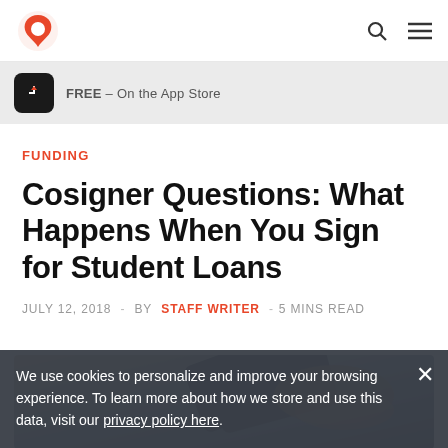Penny (logo) — navigation bar with search and menu icons
[Figure (screenshot): App store banner showing app icon and text 'FREE - On the App Store']
FUNDING
Cosigner Questions: What Happens When You Sign for Student Loans
JULY 12, 2018 - BY STAFF WRITER - 5 MINS READ
[Figure (photo): Partial image of hands holding a credit card or similar item]
We use cookies to personalize and improve your browsing experience. To learn more about how we store and use this data, visit our privacy policy here.